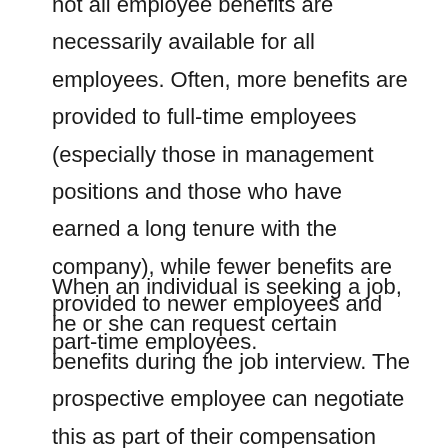not all employee benefits are necessarily available for all employees. Often, more benefits are provided to full-time employees (especially those in management positions and those who have earned a long tenure with the company), while fewer benefits are provided to newer employees and part-time employees.
When an individual is seeking a job, he or she can request certain benefits during the job interview. The prospective employee can negotiate this as part of their compensation package when and if they are offered a new